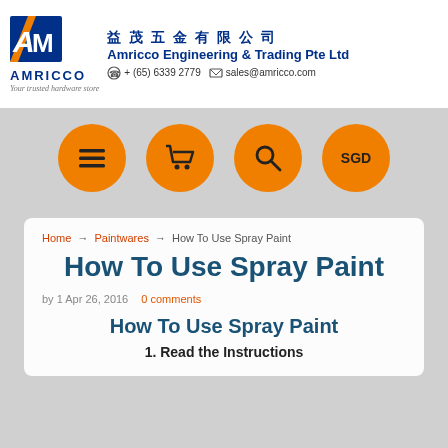[Figure (logo): Amricco Engineering & Trading Pte Ltd logo with Chinese characters 益茂五金有限公司, phone +（65）6339 2779, email sales@amricco.com]
[Figure (infographic): Four orange navigation circles: hamburger menu icon, shopping cart icon, search/magnifier icon, SGD currency label]
Home → Paintwares → How To Use Spray Paint
How To Use Spray Paint
by 1 Apr 26, 2016   0 comments
How To Use Spray Paint
1. Read the Instructions